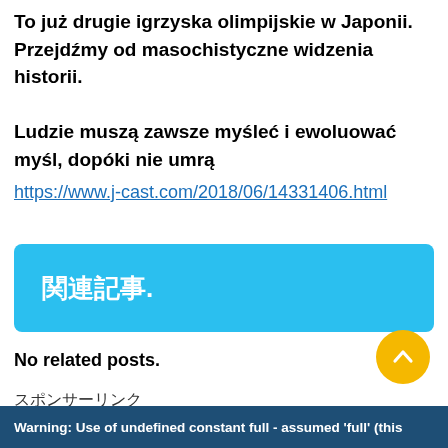To już drugie igrzyska olimpijskie w Japonii. Przejdźmy od masochistyczne widzenia historii.
Ludzie muszą zawsze myśleć i ewoluować myśl, dopóki nie umrą
https://www.j-cast.com/2018/06/14331406.html
[Figure (other): Blue banner with white bold Japanese text: 関連記事.]
No related posts.
スポンサーリンク
[Figure (other): Yellow circular button with upward chevron arrow]
Warning: Use of undefined constant full - assumed 'full' (this